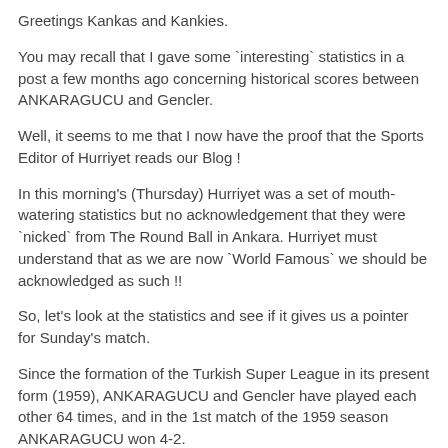Greetings Kankas and Kankies.
You may recall that I gave some `interesting` statistics in a post a few months ago concerning historical scores between ANKARAGUCU and Gencler.
Well, it seems to me that I now have the proof that the Sports Editor of Hurriyet reads our Blog !
In this morning's (Thursday) Hurriyet was a set of mouth-watering statistics but no acknowledgement that they were `nicked` from The Round Ball in Ankara. Hurriyet must understand that as we are now `World Famous` we should be acknowledged as such !!
So, let's look at the statistics and see if it gives us a pointer for Sunday's match.
Since the formation of the Turkish Super League in its present form (1959), ANKARAGUCU and Gencler have played each other 64 times, and in the 1st match of the 1959 season ANKARAGUCU won 4-2.